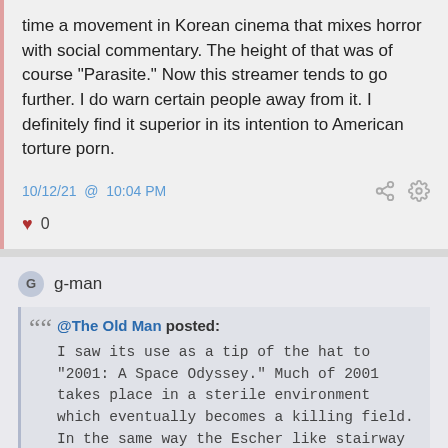time a movement in Korean cinema that mixes horror with social commentary. The height of that was of course "Parasite." Now this streamer tends to go further. I do warn certain people away from it. I definitely find it superior in its intention to American torture porn.
10/12/21 @ 10:04 PM
♥ 0
g-man
@The Old Man posted:
I saw its use as a tip of the hat to "2001: A Space Odyssey." Much of 2001 takes place in a sterile environment which eventually becomes a killing field. In the same way the Escher like stairway in